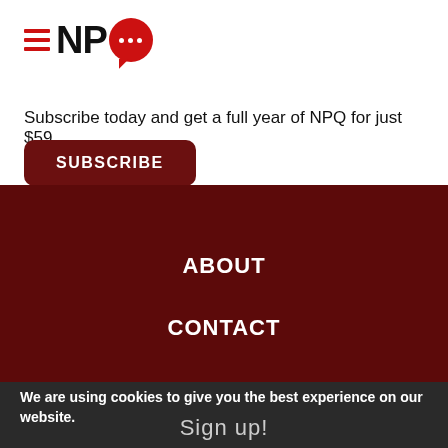[Figure (logo): NPQ logo with hamburger menu icon and red speech bubble with dots]
Subscribe today and get a full year of NPQ for just $59.
SUBSCRIBE
ABOUT
CONTACT
We are using cookies to give you the best experience on our website.
Sign up!